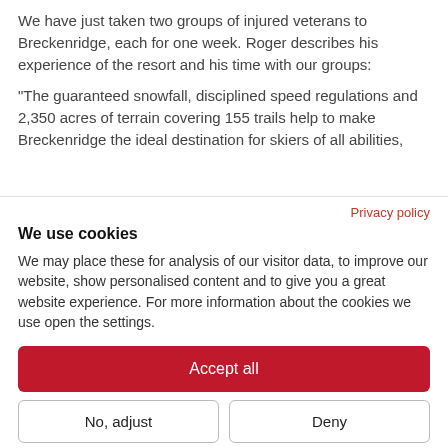We have just taken two groups of injured veterans to Breckenridge, each for one week. Roger describes his experience of the resort and his time with our groups:
“The guaranteed snowfall, disciplined speed regulations and 2,350 acres of terrain covering 155 trails help to make Breckenridge the ideal destination for skiers of all abilities,
Privacy policy
We use cookies
We may place these for analysis of our visitor data, to improve our website, show personalised content and to give you a great website experience. For more information about the cookies we use open the settings.
Accept all
No, adjust
Deny